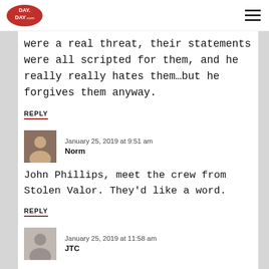Day Day | Logo and navigation menu
were a real threat, their statements were all scripted for them, and he really really hates them...but he forgives them anyway.
REPLY
January 25, 2019 at 9:51 am
Norm
John Phillips, meet the crew from Stolen Valor. They'd like a word.
REPLY
January 25, 2019 at 11:58 am
JTC